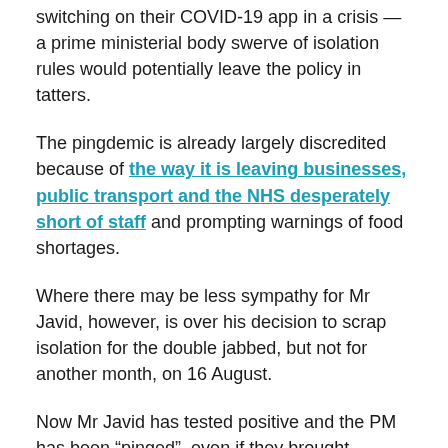switching on their COVID-19 app in a crisis — a prime ministerial body swerve of isolation rules would potentially leave the policy in tatters.
The pingdemic is already largely discredited because of the way it is leaving businesses, public transport and the NHS desperately short of staff and prompting warnings of food shortages.
Where there may be less sympathy for Mr Javid, however, is over his decision to scrap isolation for the double jabbed, but not for another month, on 16 August.
Now Mr Javid has tested positive and the PM has been “pinged”, even if they brought forward the 16 August change, they would be accused of acting out of self-interest.